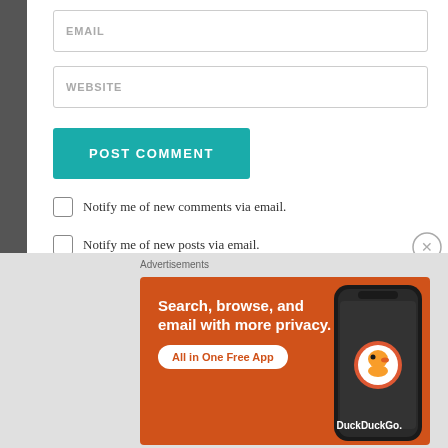EMAIL
WEBSITE
POST COMMENT
Notify me of new comments via email.
Notify me of new posts via email.
Advertisements
[Figure (infographic): DuckDuckGo advertisement banner: orange background with text 'Search, browse, and email with more privacy. All in One Free App' and a phone showing DuckDuckGo app]